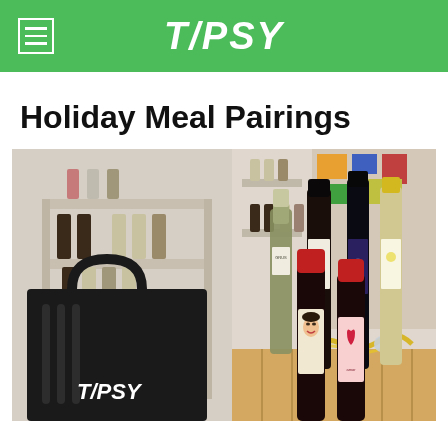T/PSY
Holiday Meal Pairings
[Figure (photo): Photo of a black Tipsy branded delivery bag and several wine bottles displayed in a wine shop with shelves of bottles in the background. Bottles include sparkling wine, red wine with colorful labels including one with a heart design and one with a woman's face. Gold tinsel decorations are visible on the table.]